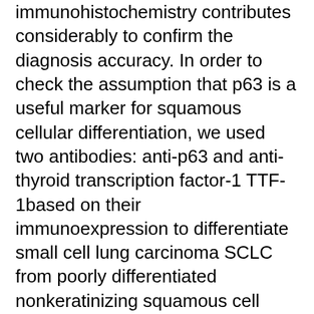immunohistochemistry contributes considerably to confirm the diagnosis accuracy. In order to check the assumption that p63 is a useful marker for squamous cellular differentiation, we used two antibodies: anti-p63 and anti-thyroid transcription factor-1 TTF-1based on their immunoexpression to differentiate small cell lung carcinoma SCLC from poorly differentiated nonkeratinizing squamous cell carcinoma Female nih chronic prostatitis symptom index.
Our study included 48 cases of lung carcinoma lung biopsies and wedge resection formalin-fixed and paraffin-embedded. Our results are useful for a targeted therapy, as long as they point out a significant role in marking of the correct diagnosis of lung tumors. The potential curative and preventive effects of garlic on testosterone-induced benign prostatic hyperplasia in orchiectomized rats Wael